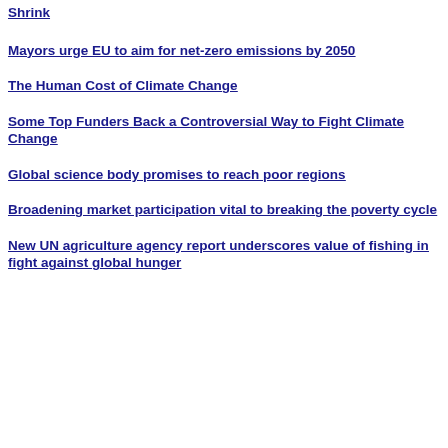Shrink
Mayors urge EU to aim for net-zero emissions by 2050
The Human Cost of Climate Change
Some Top Funders Back a Controversial Way to Fight Climate Change
Global science body promises to reach poor regions
Broadening market participation vital to breaking the poverty cycle
New UN agriculture agency report underscores value of fishing in fight against global hunger